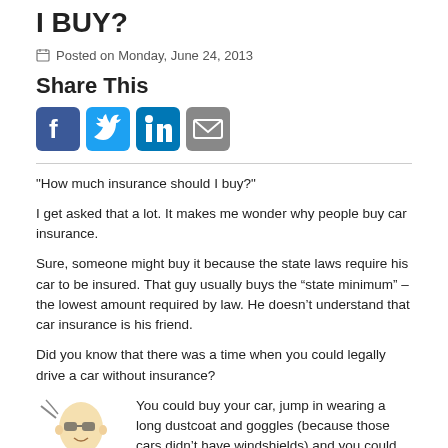I BUY?
Posted on Monday, June 24, 2013
Share This
[Figure (illustration): Social media share icons: Facebook, Twitter, LinkedIn, Email]
"How much insurance should I buy?"
I get asked that a lot. It makes me wonder why people buy car insurance.
Sure, someone might buy it because the state laws require his car to be insured. That guy usually buys the “state minimum” – the lowest amount required by law. He doesn’t understand that car insurance is his friend.
Did you know that there was a time when you could legally drive a car without insurance?
[Figure (illustration): Cartoon illustration of an old-fashioned car driver wearing goggles and a long dustcoat]
You could buy your car, jump in wearing a long dustcoat and goggles (because those cars didn’t have windshields) and you could be on your way without